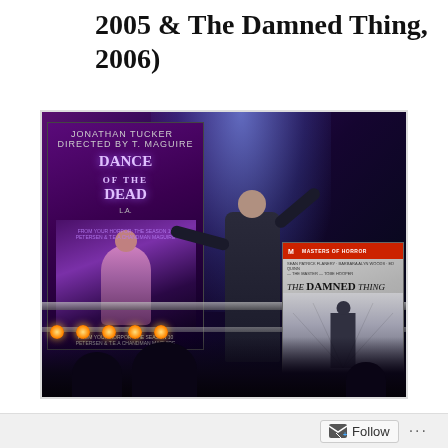2005 & THE DAMNED THING, 2006)
[Figure (photo): A person in a long dark coat standing on a stage or platform with arms raised, flanked by two DVD/movie covers: 'Dance of the Dead' on the left (purple horror cover) and 'The Damned Thing' (Masters of Horror) on the right (grey cover with silhouette). Stage lighting with blue/purple beams visible in background, audience silhouettes in foreground.]
The Masters of Horror series aired on Showtime.  The